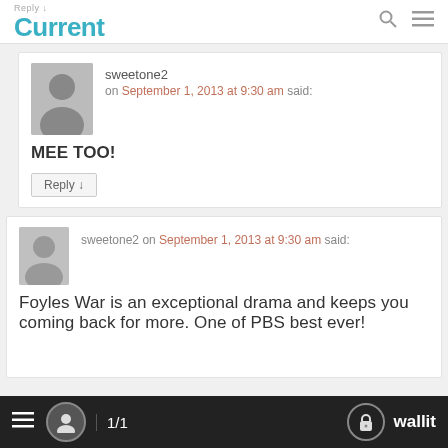Reply ↓ Current
sweetone2 on September 1, 2013 at 9:30 am said:
MEE TOO!
Reply ↓
sweetone2 on September 1, 2013 at 9:30 am said:
Foyles War is an exceptional drama and keeps you coming back for more. One of PBS best ever!
≡  1/1  wallit